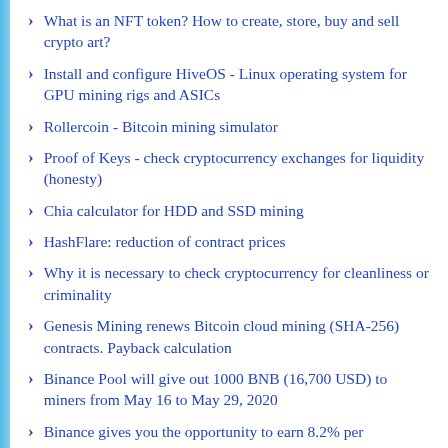What is an NFT token? How to create, store, buy and sell crypto art?
Install and configure HiveOS - Linux operating system for GPU mining rigs and ASICs
Rollercoin - Bitcoin mining simulator
Proof of Keys - check cryptocurrency exchanges for liquidity (honesty)
Chia calculator for HDD and SSD mining
HashFlare: reduction of contract prices
Why it is necessary to check cryptocurrency for cleanliness or criminality
Genesis Mining renews Bitcoin cloud mining (SHA-256) contracts. Payback calculation
Binance Pool will give out 1000 BNB (16,700 USD) to miners from May 16 to May 29, 2020
Binance gives you the opportunity to earn 8.2% per